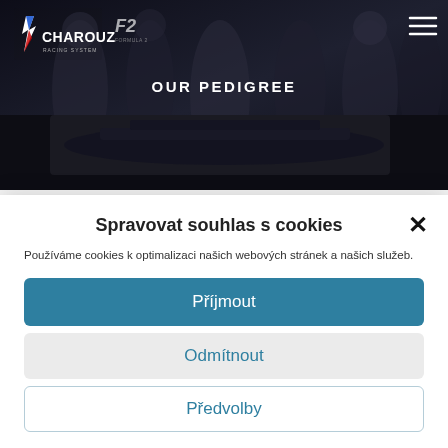[Figure (screenshot): Charouz Racing System website hero section with dark background showing team silhouettes, Charouz and F2 logos, hamburger menu icon, 'OUR PEDIGREE' heading, and a dark car strip below]
Spravovat souhlas s cookies
Používáme cookies k optimalizaci našich webových stránek a našich služeb.
Příjmout
Odmítnout
Předvolby